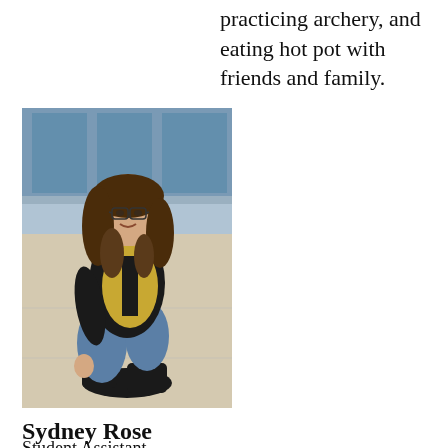practicing archery, and eating hot pot with friends and family.
[Figure (photo): A young woman with long curly brown hair and glasses, wearing a black long-sleeve shirt and a yellow/gold vest with jeans and black boots, crouching and smiling outdoors in front of a building with large windows.]
Sydney Rose
Student Assistant